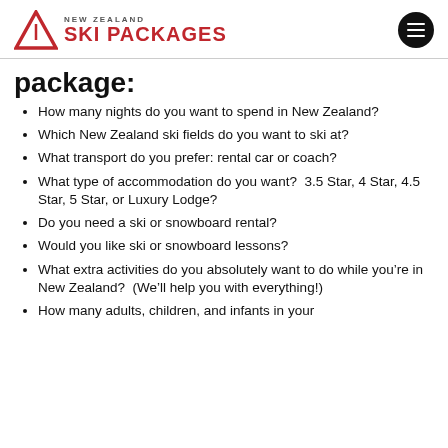NEW ZEALAND SKI PACKAGES
package:
How many nights do you want to spend in New Zealand?
Which New Zealand ski fields do you want to ski at?
What transport do you prefer: rental car or coach?
What type of accommodation do you want?  3.5 Star, 4 Star, 4.5 Star, 5 Star, or Luxury Lodge?
Do you need a ski or snowboard rental?
Would you like ski or snowboard lessons?
What extra activities do you absolutely want to do while you're in New Zealand?  (We'll help you with everything!)
How many adults, children, and infants in your